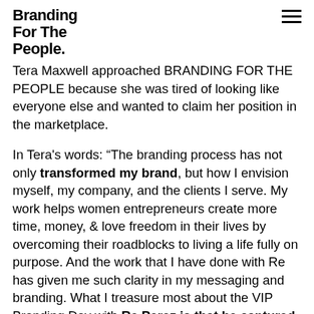Branding For The People
Tera Maxwell approached BRANDING FOR THE PEOPLE because she was tired of looking like everyone else and wanted to claim her position in the marketplace.
In Tera's words: “The branding process has not only transformed my brand, but how I envision myself, my company, and the clients I serve. My work helps women entrepreneurs create more time, money, & love freedom in their lives by overcoming their roadblocks to living a life fully on purpose. And the work that I have done with Re has given me such clarity in my messaging and branding. What I treasure most about the VIP Branding Day with Re Perez is that he captured the essence of the work that I do with my clients. As an Affluence Coach, I work with clients on the conscious and subconscious level (or energetic level) to help them